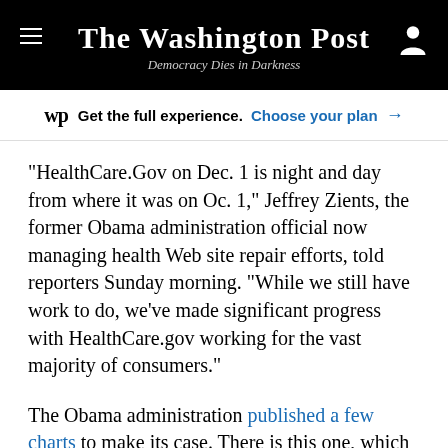The Washington Post — Democracy Dies in Darkness
wp Get the full experience. Choose your plan →
"HealthCare.Gov on Dec. 1 is night and day from where it was on Oc. 1," Jeffrey Zients, the former Obama administration official now managing health Web site repair efforts, told reporters Sunday morning. "While we still have work to do, we've made significant progress with HealthCare.gov working for the vast majority of consumers."
The Obama administration published a few charts to make its case. There is this one, which shows a significant drop in the time it takes to load the average